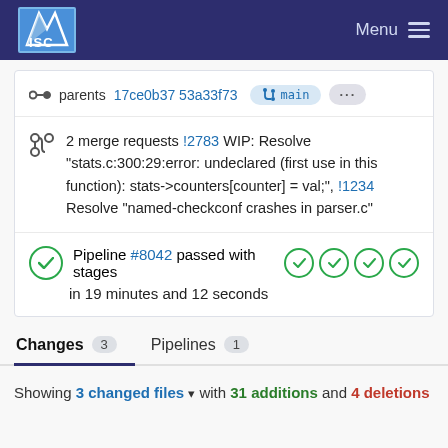ISC Menu
parents 17ce0b37 53a33f73 main ...
2 merge requests !2783 WIP: Resolve "stats.c:300:29:error: undeclared (first use in this function): stats->counters[counter] = val;", !1234 Resolve "named-checkconf crashes in parser.c"
Pipeline #8042 passed with stages in 19 minutes and 12 seconds
Changes 3   Pipelines 1
Showing 3 changed files with 31 additions and 4 deletions